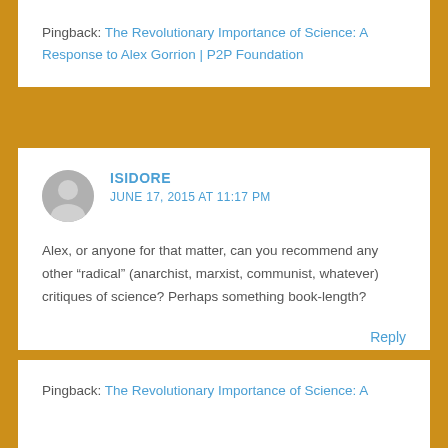Pingback: The Revolutionary Importance of Science: A Response to Alex Gorrion | P2P Foundation
ISIDORE
JUNE 17, 2015 AT 11:17 PM

Alex, or anyone for that matter, can you recommend any other "radical" (anarchist, marxist, communist, whatever) critiques of science? Perhaps something book-length?

Reply
Pingback: The Revolutionary Importance of Science: A